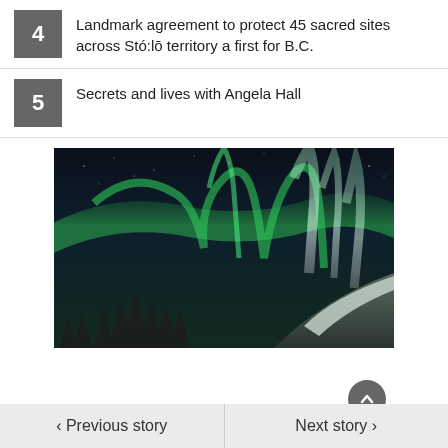4 Landmark agreement to protect 45 sacred sites across Stó:lō territory a first for B.C.
5 Secrets and lives with Angela Hall
[Figure (photo): Aurora borealis (northern lights) over a landscape with silhouetted conifer trees and a snow-covered hill, night sky with green and white light curtains]
< Previous story    Next story >